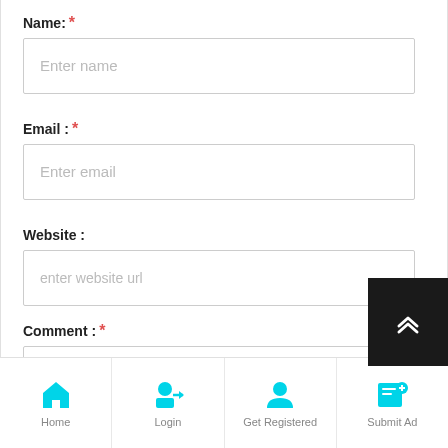Name: *
Enter name
Email : *
Enter email
Website :
enter website url
Comment : *
Type your comment here...
Home | Login | Get Registered | Submit Ad